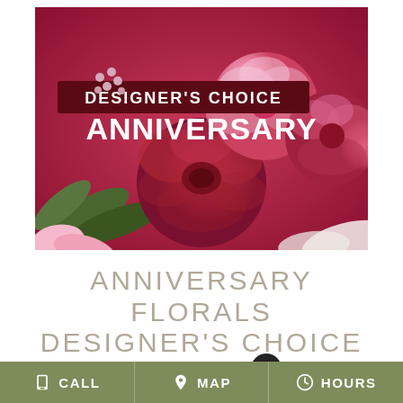[Figure (photo): Close-up photo of pink and red roses and ranunculus flowers arranged as a bouquet. Text overlay shows 'DESIGNER'S CHOICE' on a dark red banner and 'ANNIVERSARY' in large white bold text below it.]
ANNIVERSARY FLORALS DESIGNER'S CHOICE
Shown at $75.00
CALL   MAP   HOURS